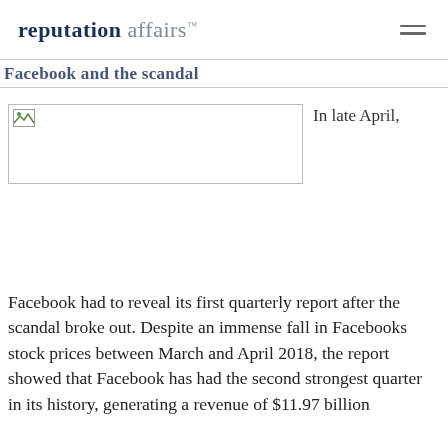reputation affairs™
Facebook and the scandal
[Figure (photo): Broken image placeholder with 'In late April,' text to the right]
Facebook had to reveal its first quarterly report after the scandal broke out. Despite an immense fall in Facebooks stock prices between March and April 2018, the report showed that Facebook has had the second strongest quarter in its history, generating a revenue of $11.97 billion